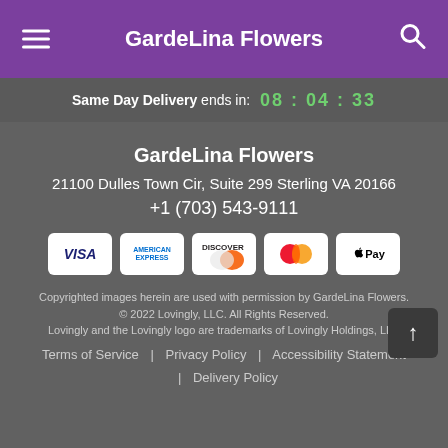GardeLina Flowers
Same Day Delivery ends in: 08 : 04 : 33
GardeLina Flowers
21100 Dulles Town Cir, Suite 299 Sterling VA 20166
+1 (703) 543-9111
[Figure (infographic): Payment method icons: VISA, American Express, Discover, Mastercard, Apple Pay]
Copyrighted images herein are used with permission by GardeLina Flowers.
© 2022 Lovingly, LLC. All Rights Reserved.
Lovingly and the Lovingly logo are trademarks of Lovingly Holdings, LLC
Terms of Service | Privacy Policy | Accessibility Statement | Delivery Policy